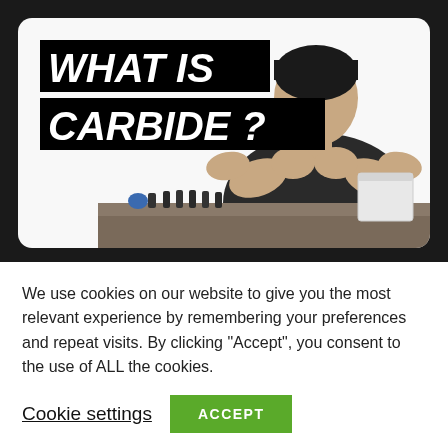[Figure (screenshot): Video thumbnail showing a man in a dark jacket gesturing with his hands behind a workbench with tools and a white block. Text overlay reads 'WHAT IS CARBIDE ?' in bold white italic letters on black background bars.]
We use cookies on our website to give you the most relevant experience by remembering your preferences and repeat visits. By clicking “Accept”, you consent to the use of ALL the cookies.
Cookie settings
ACCEPT